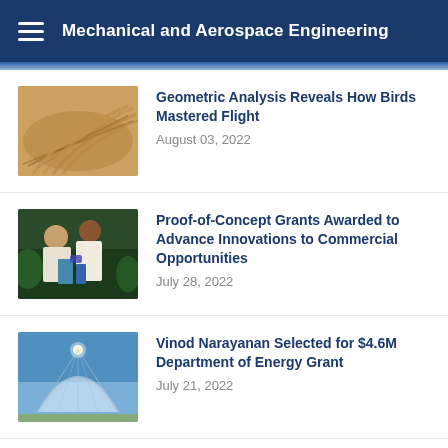Mechanical and Aerospace Engineering
Geometric Analysis Reveals How Birds Mastered Flight — August 03, 2022
Proof-of-Concept Grants Awarded to Advance Innovations to Commercial Opportunities — July 28, 2022
Vinod Narayanan Selected for $4.6M Department of Energy Grant — July 21, 2022
Cracking Turbulence — June 29, 2022